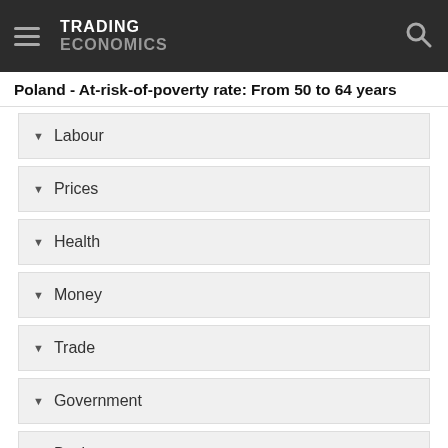TRADING ECONOMICS
Poland - At-risk-of-poverty rate: From 50 to 64 years
Labour
Prices
Health
Money
Trade
Government
Business
Consumer